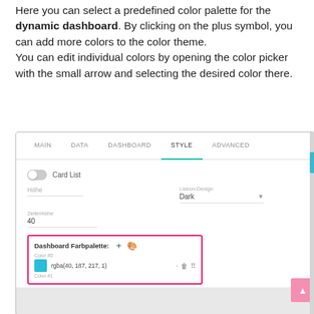Here you can select a predefined color palette for the dynamic dashboard. By clicking on the plus symbol, you can add more colors to the color theme.
You can edit individual colors by opening the color picker with the small arrow and selecting the desired color there.
[Figure (screenshot): Screenshot of a dashboard settings panel showing tabs (MAIN, DATA, DASHBOARD, STYLE active with teal underline, ADVANCED), a Card List toggle, fields for Höhe and Lisbon-Design (Dark) with dropdown, Zeilenhöhe field showing 40, and a Dashboard Farbpalette section bordered in pink showing a plus button, palette icon, Color #0 with teal swatch and rgba(40, 187, 217, 1) value, and Color #1 label. A pink scroll-to-top button appears in the lower right.]